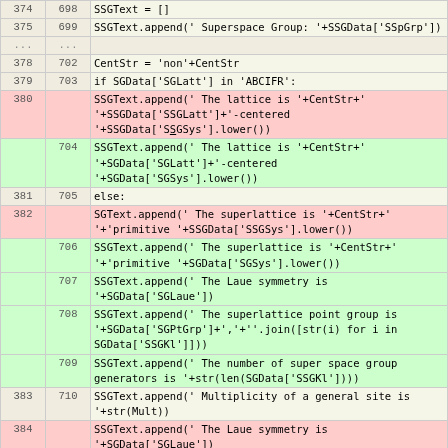| line-old | line-new | code |
| --- | --- | --- |
| 374 | 698 |     SSGText = [] |
| 375 | 699 |     SSGText.append(' Superspace Group: '+SSGData['SSpGrp']) |
| ... | ... |  |
| 378 | 702 |         CentStr = 'non'+CentStr |
| 379 | 703 |     if SGData['SGLatt'] in 'ABCIFR': |
| 380 |  |         SSGText.append(' The lattice is '+CentStr+' '+SSGData['SSGLatt']+'-centered '+SSGData['SSGSys'].lower()) |
|  | 704 |         SSGText.append(' The lattice is '+CentStr+' '+SGData['SGLatt']+'-centered '+SGData['SGSys'].lower()) |
| 381 | 705 |     else: |
| 382 |  |         SGText.append(' The superlattice is '+CentStr+' '+'primitive '+SSGData['SSGSys'].lower()) |
|  | 706 |         SSGText.append(' The superlattice is '+CentStr+' '+'primitive '+SGData['SGSys'].lower()) |
|  | 707 |     SSGText.append(' The Laue symmetry is '+SGData['SGLaue']) |
|  | 708 |     SSGText.append(' The superlattice point group is '+SGData['SGPtGrp']+','+''.join([str(i) for i in SGData['SSGKl']])) |
|  | 709 |     SSGText.append(' The number of super space group generators is '+str(len(SGData['SSGKl']))) |
| 383 | 710 |     SSGText.append(' Multiplicity of a general site is '+str(Mult)) |
| 384 |  |     SSGText.append(' The Laue symmetry is '+SGData['SGLaue']) |
| 385 | 711 |     if SGData['SGUniq'] in ['a','b','c']: |
| 386 | 712 |         SSGText.append(' The unique monoclinic axis is '+SGData['SGUniq']) |
| ... | ... |  |